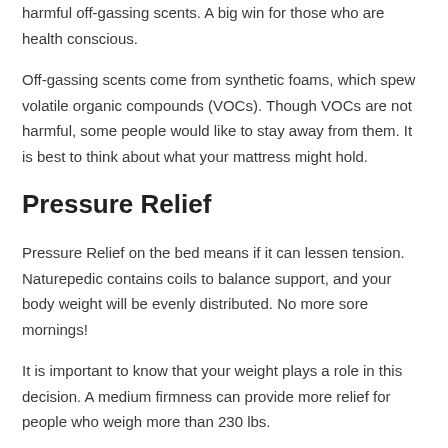harmful off-gassing scents. A big win for those who are health conscious.
Off-gassing scents come from synthetic foams, which spew volatile organic compounds (VOCs). Though VOCs are not harmful, some people would like to stay away from them. It is best to think about what your mattress might hold.
Pressure Relief
Pressure Relief on the bed means if it can lessen tension. Naturepedic contains coils to balance support, and your body weight will be evenly distributed. No more sore mornings!
It is important to know that your weight plays a role in this decision. A medium firmness can provide more relief for people who weigh more than 230 lbs.
Pricing and Deals